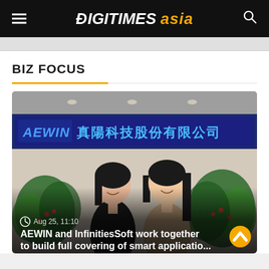DIGITIMES asia
BIZ FOCUS
[Figure (photo): Two women smiling and posing in front of an AEWIN (真陽科技股份有限公司) illuminated sign in a corporate office, with plants in the background.]
Aug 25, 11:10 — AEWIN and InfinitiesSoft work together to build full covering of smart applicatio...